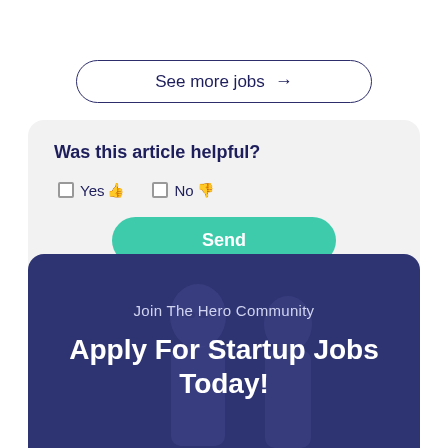See more jobs →
Was this article helpful?
☐ Yes 👍  ☐ No 👎
Send
Join The Hero Community
Apply For Startup Jobs Today!